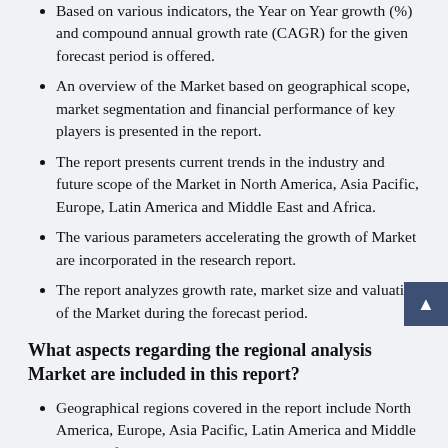Based on various indicators, the Year on Year growth (%) and compound annual growth rate (CAGR) for the given forecast period is offered.
An overview of the Market based on geographical scope, market segmentation and financial performance of key players is presented in the report.
The report presents current trends in the industry and future scope of the Market in North America, Asia Pacific, Europe, Latin America and Middle East and Africa.
The various parameters accelerating the growth of Market are incorporated in the research report.
The report analyzes growth rate, market size and valuation of the Market during the forecast period.
What aspects regarding the regional analysis Market are included in this report?
Geographical regions covered in the report include North America, Europe, Asia Pacific, Latin America and Middle East & Africa region.
The report consists of detailed region-wise analysis of